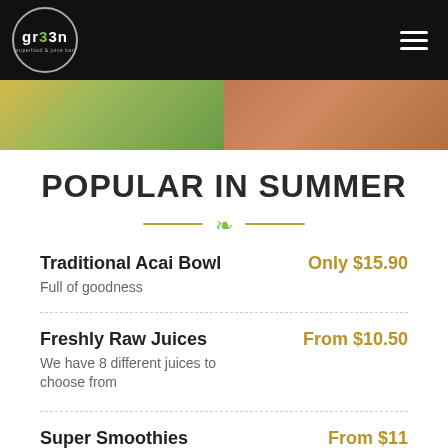Green Superfood & Juice Bar – navigation header
[Figure (photo): Food photos strip showing acai bowl and juice images]
POPULAR IN SUMMER
Traditional Acai Bowl – Only $15.90 – Full of goodness
Freshly Raw Juices – From $10.50 – We have 8 different juices to choose from
Super Smoothies – From $11